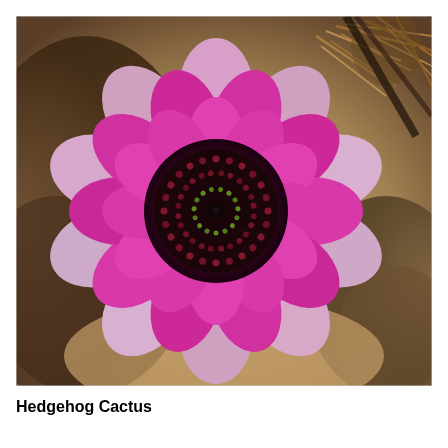[Figure (photo): Close-up photograph of a blooming Hedgehog Cactus flower. The flower has vivid magenta-pink petals arranged in multiple layers around a dark center filled with deep red and nearly black stamens and pistils with small yellow-green tips. The background shows blurred rocky desert terrain and cactus spines in the upper right corner.]
Hedgehog Cactus